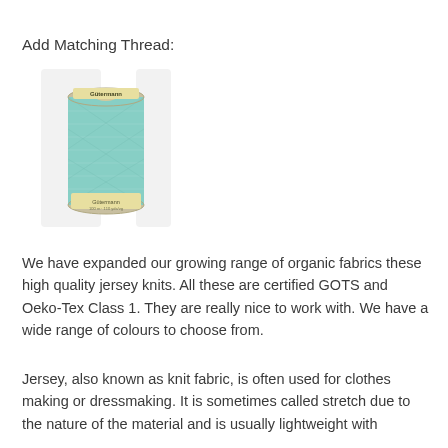Add Matching Thread:
[Figure (photo): A spool of Gütermann teal/mint coloured sewing thread, 100m - 110 yds label visible at the bottom.]
We have expanded our growing range of organic fabrics these high quality jersey knits. All these are certified GOTS and Oeko-Tex Class 1. They are really nice to work with. We have a wide range of colours to choose from.
Jersey, also known as knit fabric, is often used for clothes making or dressmaking. It is sometimes called stretch due to the nature of the material and is usually lightweight with